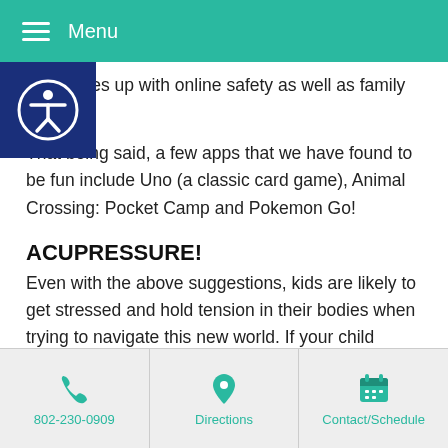Menu
that it lines up with online safety as well as family values.
That being said, a few apps that we have found to be fun include Uno (a classic card game), Animal Crossing: Pocket Camp and Pokemon Go!
ACUPRESSURE!
Even with the above suggestions, kids are likely to get stressed and hold tension in their bodies when trying to navigate this new world. If your child shows signs of headaches or stress, show them the below acupressure points so relieve some of their symptoms.
Pericardium 6 – This point is located bilaterally on the underside of the forearm, roughly three finger widths below the wrist crease, between the two tendons. PC6 is a great point to alleviate nausea from
802-230-0909 | Directions | Contact/Schedule